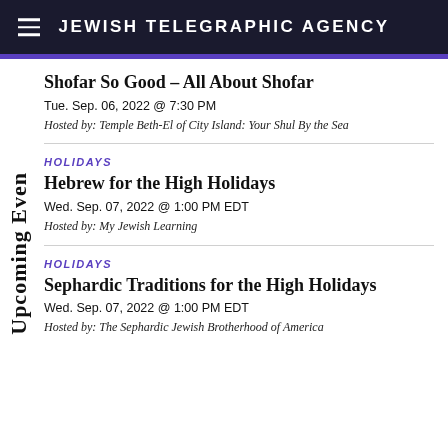JEWISH TELEGRAPHIC AGENCY
Shofar So Good – All About Shofar
Tue. Sep. 06, 2022 @ 7:30 PM
Hosted by: Temple Beth-El of City Island: Your Shul By the Sea
HOLIDAYS
Hebrew for the High Holidays
Wed. Sep. 07, 2022 @ 1:00 PM EDT
Hosted by: My Jewish Learning
HOLIDAYS
Sephardic Traditions for the High Holidays
Wed. Sep. 07, 2022 @ 1:00 PM EDT
Hosted by: The Sephardic Jewish Brotherhood of America